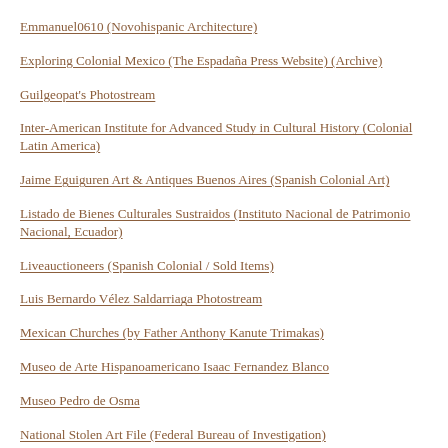Emmanuel0610 (Novohispanic Architecture)
Exploring Colonial Mexico (The Espadaña Press Website) (Archive)
Guilgeopat's Photostream
Inter-American Institute for Advanced Study in Cultural History (Colonial Latin America)
Jaime Eguiguren Art & Antiques Buenos Aires (Spanish Colonial Art)
Listado de Bienes Culturales Sustraidos (Instituto Nacional de Patrimonio Nacional, Ecuador)
Liveauctioneers (Spanish Colonial / Sold Items)
Luis Bernardo Vélez Saldarriaga Photostream
Mexican Churches (by Father Anthony Kanute Trimakas)
Museo de Arte Hispanoamericano Isaac Fernandez Blanco
Museo Pedro de Osma
National Stolen Art File (Federal Bureau of Investigation)
Osvaldo Gil Matias Collection (Oriental Ivories)